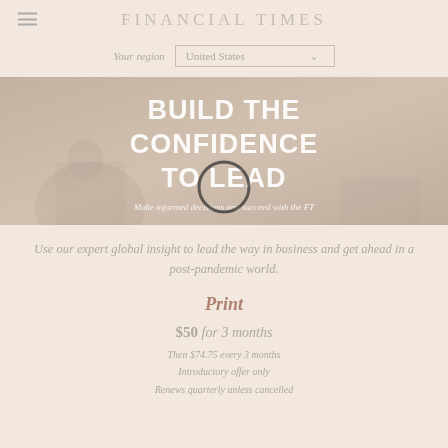FINANCIAL TIMES
Your region: United States
[Figure (photo): Hero banner with dimmed background image of people in a business setting, overlaid with large bold white text 'BUILD THE CONFIDENCE TO LEAD' and subtitle 'Make informed decisions and succeed with the FT', with a circular spinner/loading indicator in the center]
Use our expert global insight to lead the way in business and get ahead in a post-pandemic world.
Print
$50 for 3 months
Then $74.75 every 3 months
Introductory offer only
Renews quarterly unless cancelled